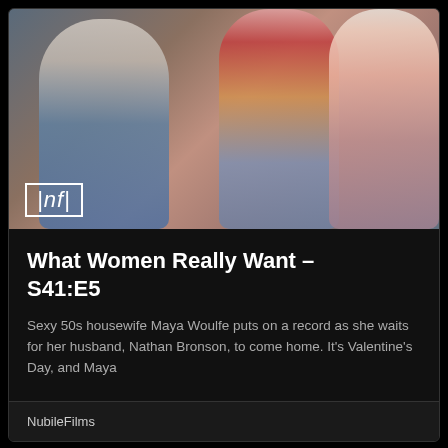[Figure (photo): Promotional still showing three people: a man in a white t-shirt and jeans on the left, a woman in a red crop top and denim shorts in the center, and a woman in a pink dress on the right. The NF (NubileFilms) logo appears in the lower-left corner of the image.]
What Women Really Want – S41:E5
Sexy 50s housewife Maya Woulfe puts on a record as she waits for her husband, Nathan Bronson, to come home. It's Valentine's Day, and Maya
NubileFilms